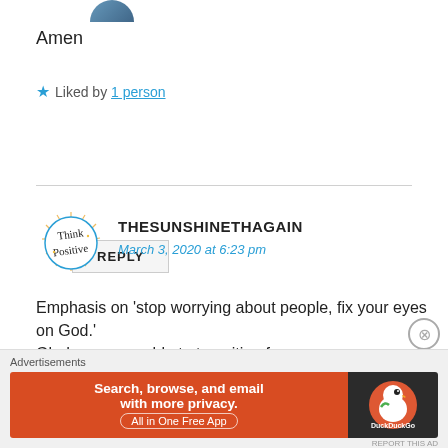[Figure (photo): Partial circular avatar image at top]
Amen
★ Liked by 1 person
REPLY
[Figure (logo): Think Positive circular logo with decorative sun rays and script text]
THESUNSHINETHAGAIN
March 3, 2020 at 6:23 pm
Emphasis on 'stop worrying about people, fix your eyes on God.'
Glad you were able to transition from a nervous worship to
Advertisements
[Figure (screenshot): DuckDuckGo advertisement banner: Search, browse, and email with more privacy. All in One Free App. DuckDuckGo logo on dark background.]